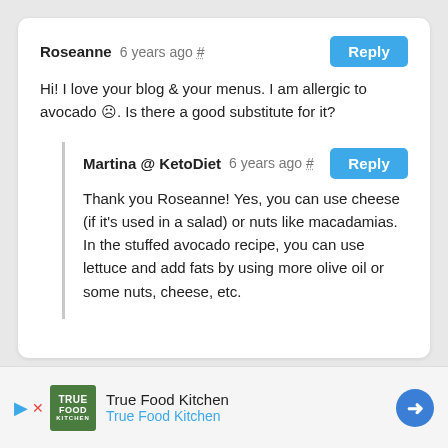Roseanne  6 years ago #    Reply
Hi! I love your blog & your menus. I am allergic to avocado ☹. Is there a good substitute for it?
Martina @ KetoDiet  6 years ago #    Reply
Thank you Roseanne! Yes, you can use cheese (if it's used in a salad) or nuts like macadamias. In the stuffed avocado recipe, you can use lettuce and add fats by using more olive oil or some nuts, cheese, etc.
[Figure (other): Advertisement banner for True Food Kitchen with logo, text, and navigation arrow icon]